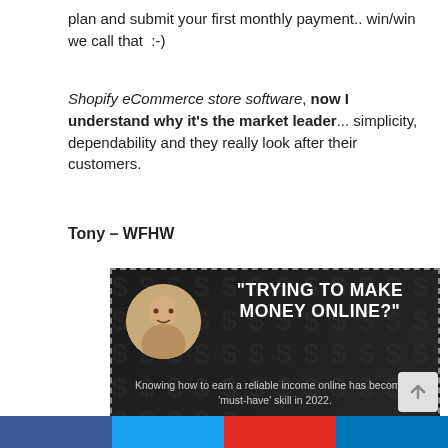plan and submit your first monthly payment.. win/win we call that  :-)
Shopify eCommerce store software, now I understand why it's the market leader... simplicity, dependability and they really look after their customers.
Tony – WFHW
[Figure (infographic): Dark-themed advertisement banner with dashed border. A circular headshot of a man on the left, large bold white uppercase text reading "TRYING TO MAKE MONEY ONLINE?" to the right. Body text: 'Knowing how to earn a reliable income online has become a "must-have" skill in 2022.' and 'I want to explain WHY this is the case and show you HOW to take full control of your own financial destiny.' Bottom row: italic quote 'There is nothing to lose but a LOT to gain!' with a right arrow and a green button 'GET STARTED NOW!']
[Figure (other): Row of social share buttons: Facebook (blue), Twitter (blue), YouTube/Google+ (red), LinkedIn (blue)]